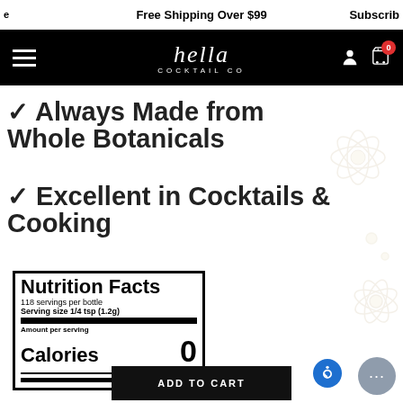Free Shipping Over $99   Subscribe
hella COCKTAIL CO
✓ Always Made from Whole Botanicals
✓ Excellent in Cocktails & Cooking
| Nutrition Facts |
| 118 servings per bottle |
| Serving size  1/4 tsp (1.2g) |
| Amount per serving |
| Calories | 0 |
ADD TO CART